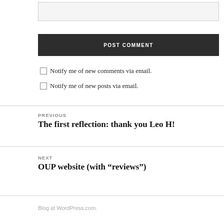[Figure (other): Text input box (comment form field)]
POST COMMENT
Notify me of new comments via email.
Notify me of new posts via email.
PREVIOUS
The first reflection: thank you Leo H!
NEXT
OUP website (with “reviews”)
Blog at WordPress.com.